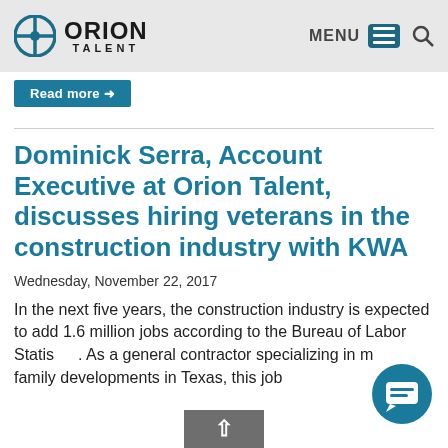ORION TALENT — MENU
Read more →
Dominick Serra, Account Executive at Orion Talent, discusses hiring veterans in the construction industry with KWA
Wednesday, November 22, 2017
In the next five years, the construction industry is expected to add 1.6 million jobs according to the Bureau of Labor Statistics. As a general contractor specializing in multi-family developments in Texas, this job